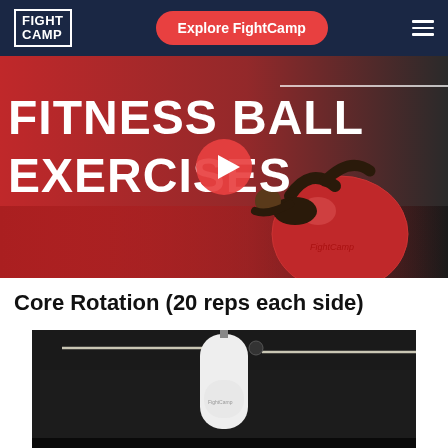FIGHT CAMP | Explore FightCamp
[Figure (photo): Video thumbnail showing a person doing fitness ball exercises on a red exercise ball. Text overlay reads FITNESS BALL EXERCISES with a play button icon. Background is dark with red gradient on left.]
Core Rotation (20 reps each side)
[Figure (photo): Dark gym photo with a white punching bag hanging from the ceiling with track lighting visible in the background.]